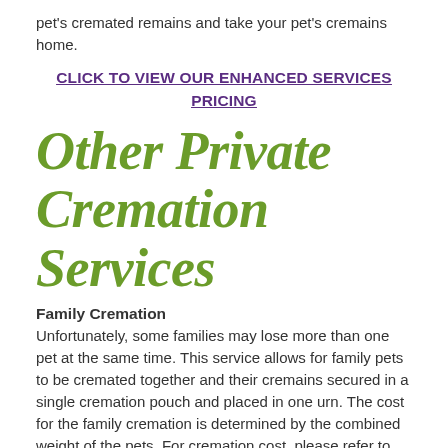pet's cremated remains and take your pet's cremains home.
CLICK TO VIEW OUR ENHANCED SERVICES PRICING
Other Private Cremation Services
Family Cremation
Unfortunately, some families may lose more than one pet at the same time. This service allows for family pets to be cremated together and their cremains secured in a single cremation pouch and placed in one urn. The cost for the family cremation is determined by the combined weight of the pets. For cremation cost, please refer to Private Cremation for pricing for pets up to 100 lbs. For combined pet weights over 100 lbs,